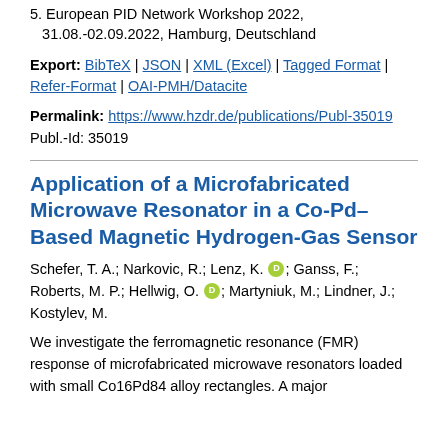5. European PID Network Workshop 2022, 31.08.-02.09.2022, Hamburg, Deutschland
Export: BibTeX | JSON | XML (Excel) | Tagged Format | Refer-Format | OAI-PMH/Datacite
Permalink: https://www.hzdr.de/publications/Publ-35019
Publ.-Id: 35019
Application of a Microfabricated Microwave Resonator in a Co-Pd–Based Magnetic Hydrogen-Gas Sensor
Schefer, T. A.; Narkovic, R.; Lenz, K. [ORCID]; Ganss, F.; Roberts, M. P.; Hellwig, O. [ORCID]; Martyniuk, M.; Lindner, J.; Kostylev, M.
We investigate the ferromagnetic resonance (FMR) response of microfabricated microwave resonators loaded with small Co16Pd84 alloy rectangles. A major